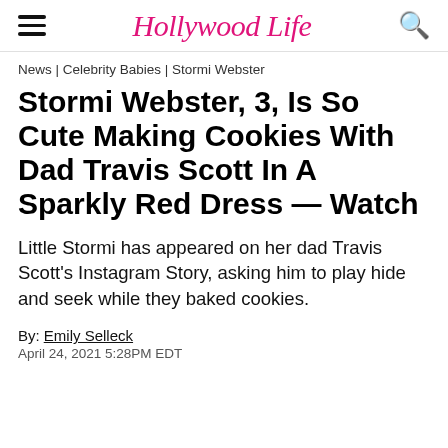Hollywood Life
News | Celebrity Babies | Stormi Webster
Stormi Webster, 3, Is So Cute Making Cookies With Dad Travis Scott In A Sparkly Red Dress — Watch
Little Stormi has appeared on her dad Travis Scott's Instagram Story, asking him to play hide and seek while they baked cookies.
By: Emily Selleck
April 24, 2021 5:28PM EDT